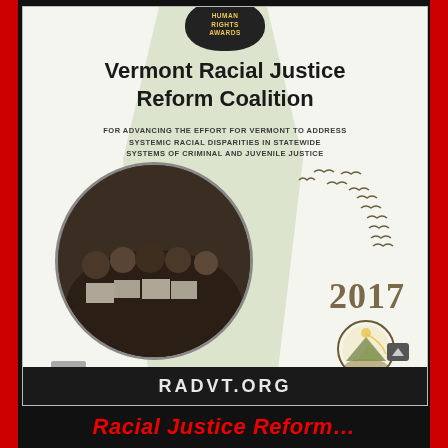[Figure (photo): Photograph of a Human Rights Award plaque for Vermont Racial Justice Reform Coalition, 2017, with a circular photo of group members holding signs, birds silhouette, and RADVT.ORG footer bar]
Vermont Racial Justice Reform Coalition
FOR ADVANCING THE EFFORT FOR VERMONT TO ADDRESS SYSTEMIC RACIAL DISPARITIES IN STATEWIDE SYSTEMS OF CRIMINAL AND JUVENILE JUSTICE
2017
RADVT.ORG
Racial Justice Reform…